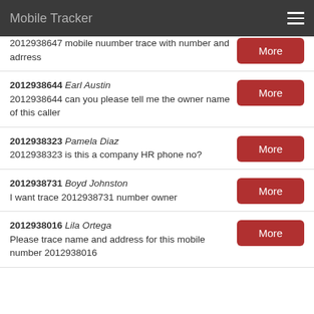Mobile Tracker
2012938647 mobile nuumber trace with number and adrress
2012938644 Earl Austin — 2012938644 can you please tell me the owner name of this caller
2012938323 Pamela Diaz — 2012938323 is this a company HR phone no?
2012938731 Boyd Johnston — I want trace 2012938731 number owner
2012938016 Lila Ortega — Please trace name and address for this mobile number 2012938016